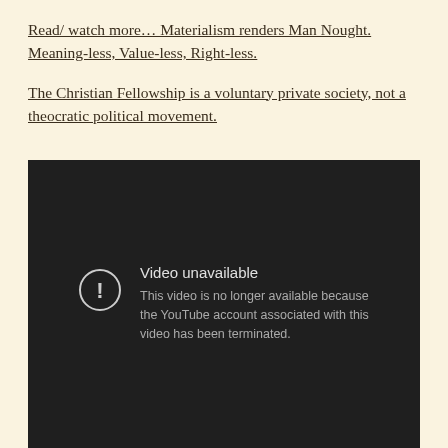Read/ watch more… Materialism renders Man Nought. Meaning-less, Value-less, Right-less.
The Christian Fellowship is a voluntary private society, not a theocratic political movement.
[Figure (screenshot): A YouTube video embed showing an error message: 'Video unavailable. This video is no longer available because the YouTube account associated with this video has been terminated.' on a dark background.]